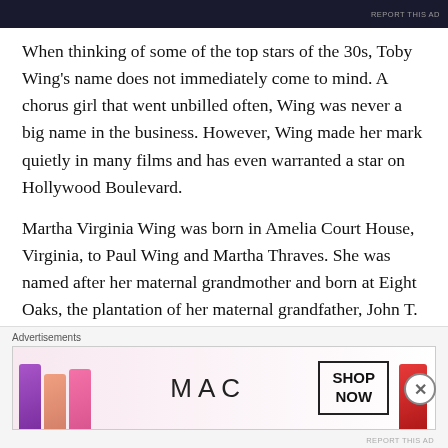[Figure (other): Top advertisement banner with dark background, partially visible]
When thinking of some of the top stars of the 30s, Toby Wing's name does not immediately come to mind. A chorus girl that went unbilled often, Wing was never a big name in the business. However, Wing made her mark quietly in many films and has even warranted a star on Hollywood Boulevard.
Martha Virginia Wing was born in Amelia Court House, Virginia, to Paul Wing and Martha Thraves. She was named after her maternal grandmother and born at Eight Oaks, the plantation of her maternal grandfather, John T. Thraves. Her father was an Army officer, leading her to
Advertisements
[Figure (photo): MAC Cosmetics advertisement showing colorful lipsticks with 'SHOP NOW' call to action button]